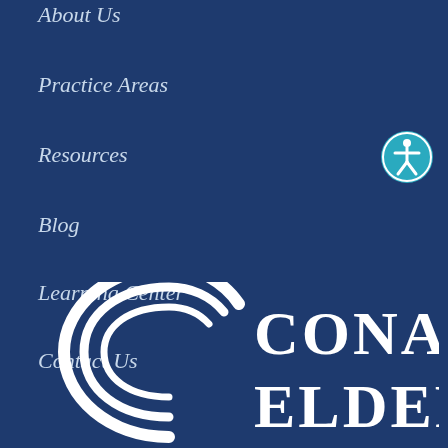About Us
Practice Areas
Resources
Blog
Learning Center
Contact Us
[Figure (logo): Accessibility icon button - circular teal button with a person/wheelchair accessibility symbol in white]
[Figure (logo): Cona Elder Law firm logo - white circular swoosh icon with text CONA ELDER in large bold white serif font]